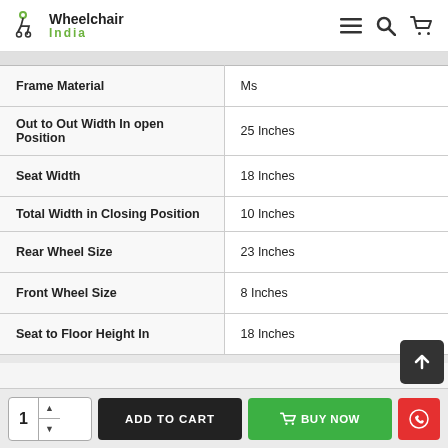Wheelchair India
| Specification | Value |
| --- | --- |
| Frame Material | Ms |
| Out to Out Width In open Position | 25 Inches |
| Seat Width | 18 Inches |
| Total Width in Closing Position | 10 Inches |
| Rear Wheel Size | 23 Inches |
| Front Wheel Size | 8 Inches |
| Seat to Floor Height In | 18 Inches |